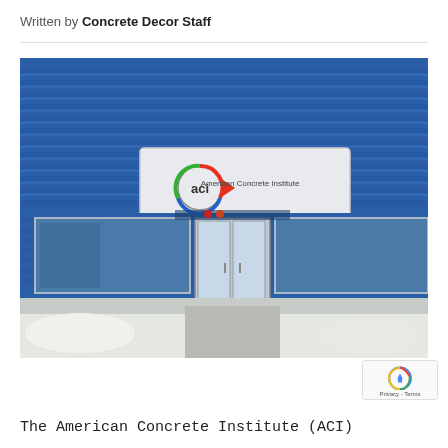Written by Concrete Decor Staff
[Figure (photo): Exterior of the American Concrete Institute (ACI) building with blue corrugated metal siding and a sign reading 'aci American Concrete Institute'. Glass entrance doors visible in center. Snow visible on ground.]
The American Concrete Institute (ACI) has opened a